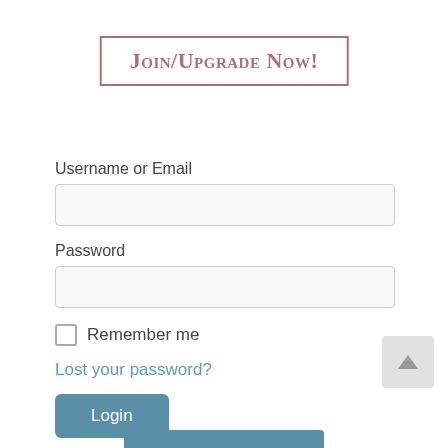Join/Upgrade Now!
Username or  Email
Password
Remember me
Lost your password?
Login